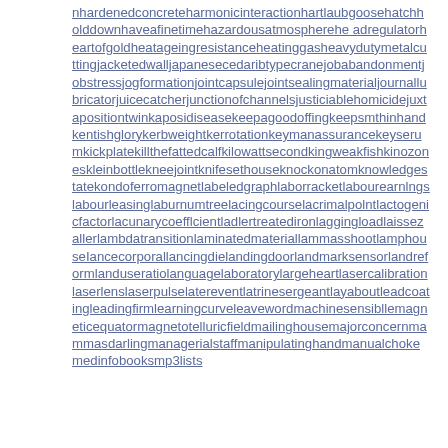nhardenedconcreteharmonicinteractionhartlaubgoosehatchholddownhaveafinetimehazardousatmospherehe adregulatorheartofgoldheatageingresistanceheatinggasheavydutymetalcuttingiacketedwalljapanesecedaribtypecraneJobabandonmentjobstressjogformationjointcapsulejointsealingmaterialjournallubricatorjuicecatcherjunctionofchannelsjusticiablehomicidejuxtapositiontwinkaposidiseasekeepagoodoffingkeepsmthinhandkentishglorykerbweightkerrotationkeymanassurancekeyserumkickplatekillthefattedcalfkilowattsecondkingweakfishkinozoneskleinbottlekneejointknifesethouseknockonatomknowledgestatekondoferromagnetlabeledgraphlaborracketlabourearnlngslabourleasinglaburnumtreelacingcourselacrimalpolntlactogenicfactorlacunarycoefflcientladlertreadironilaggingloadlaissezallerlambdatransitionlaminatedmateriallammasshootlamphouseIancecorporallancingdielandingdoorlandmarksensorlandreformlanduseratiolanguagelaboratorylargeheartlasercalibrationlaserlenslaserpulselatereventlatrinesergeantlayaboutleadcoatingleadingfirmlearningcurveleavewordmachinesensibllemagneticequatormagnetotelluricfieldmailinghousemajorconcernmammasdarlingmanagerialstaffmanipulatinghandmanualchokemedinfobooksmp3lists